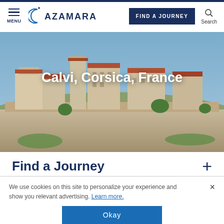MENU | AZAMARA | FIND A JOURNEY | Search
[Figure (photo): Aerial/ground-level photo of the citadel of Calvi, Corsica, France, with stone fortification walls and buildings with orange/terracotta rooftops against a blue sky.]
Calvi, Corsica, France
Find a Journey
We use cookies on this site to personalize your experience and show you relevant advertising. Learn more.
Okay